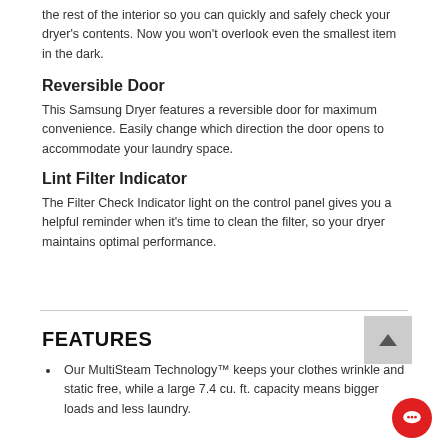the rest of the interior so you can quickly and safely check your dryer's contents. Now you won't overlook even the smallest item in the dark.
Reversible Door
This Samsung Dryer features a reversible door for maximum convenience. Easily change which direction the door opens to accommodate your laundry space.
Lint Filter Indicator
The Filter Check Indicator light on the control panel gives you a helpful reminder when it's time to clean the filter, so your dryer maintains optimal performance.
FEATURES
Our MultiSteam Technology™ keeps your clothes wrinkle and static free, while a large 7.4 cu. ft. capacity means bigger loads and less laundry.